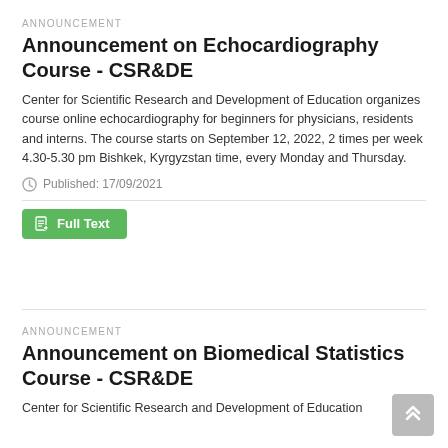ANNOUNCEMENT
Announcement on Echocardiography Course - CSR&DE
Center for Scientific Research and Development of Education organizes course online echocardiography for beginners for physicians, residents and interns. The course starts on September 12, 2022, 2 times per week 4.30-5.30 pm Bishkek, Kyrgyzstan time, every Monday and Thursday.
Published: 17/09/2021
Full Text
ANNOUNCEMENT
Announcement on Biomedical Statistics Course - CSR&DE
Center for Scientific Research and Development of Education